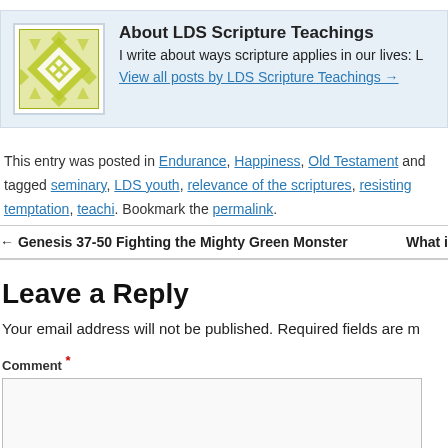[Figure (illustration): Author avatar: yellow-green geometric diamond/floral pattern tile on white background with light blue border]
About LDS Scripture Teachings
I write about ways scripture applies in our lives: L
View all posts by LDS Scripture Teachings →
This entry was posted in Endurance, Happiness, Old Testament and tagged seminary, LDS youth, relevance of the scriptures, resisting temptation, teachi. Bookmark the permalink.
← Genesis 37-50 Fighting the Mighty Green Monster    What i
Leave a Reply
Your email address will not be published. Required fields are m
Comment *